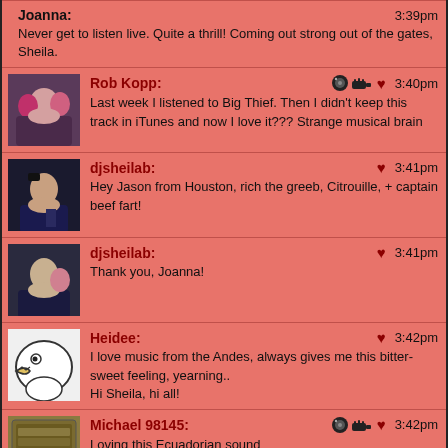Joanna: 3:39pm
Never get to listen live. Quite a thrill! Coming out strong out of the gates, Sheila.
Rob Kopp: 3:40pm
Last week I listened to Big Thief. Then I didn't keep this track in iTunes and now I love it??? Strange musical brain
djsheilab: 3:41pm
Hey Jason from Houston, rich the greeb, Citrouille, + captain beef fart!
djsheilab: 3:41pm
Thank you, Joanna!
Heidee: 3:42pm
I love music from the Andes, always gives me this bitter-sweet feeling, yearning..
Hi Sheila, hi all!
Michael 98145: 3:42pm
Loving this Ecuadorian sound
popchop: 3:42pm
Wow! How beautiful,